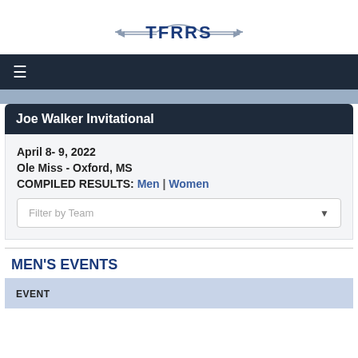[Figure (logo): TFRRS logo with stylized wing arrows and bold blue text]
≡
Joe Walker Invitational
April 8- 9, 2022
Ole Miss - Oxford, MS
COMPILED RESULTS: Men | Women
Filter by Team
MEN'S EVENTS
| EVENT |
| --- |